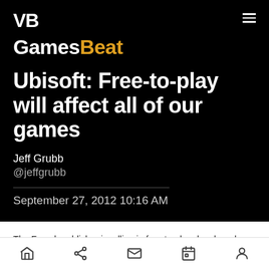VB GamesBeat
Ubisoft: Free-to-play will affect all of our games
Jeff Grubb
@jeffgrubb
September 27, 2012 10:16 AM
The French publisher is rolling in free-to-play dough and can't wait to incorporate all that its learned into more traditional games.
Home | Share | Mail | Calendar | Profile